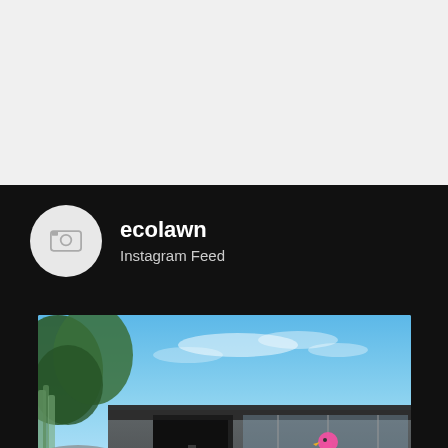[Figure (screenshot): Instagram feed widget showing ecolawn account. Top section has light gray background. Bottom section has black background with a circular avatar placeholder icon (gray) on the left, and text 'ecolawn' in bold white and 'Instagram Feed' in gray beneath it. Below that is a photograph of a modern house exterior with a lush green lawn, swimming pool with a pink flamingo inflatable, glass sliding doors, and blue sky with trees.]